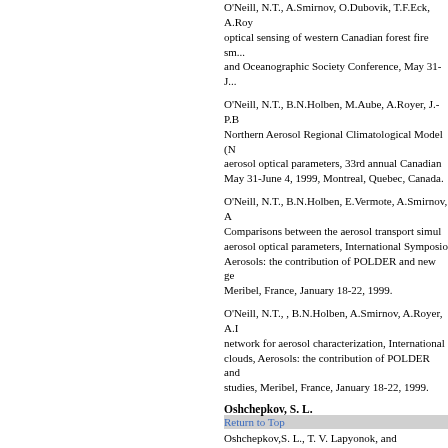O'Neill, N.T., A.Smirnov, O.Dubovik, T.F.Eck, A.Ro... optical sensing of western Canadian forest fire sm... and Oceanographic Society Conference, May 31-J...
O'Neill, N.T., B.N.Holben, M.Aube, A.Royer, J.-P.B... Northern Aerosol Regional Climatological Model (N... aerosol optical parameters, 33rd annual Canadian... May 31-June 4, 1999, Montreal, Quebec, Canada.
O'Neill, N.T., B.N.Holben, E.Vermote, A.Smirnov, A... Comparisons between the aerosol transport simul... aerosol optical parameters, International Symposio... Aerosols: the contribution of POLDER and new ge... Meribel, France, January 18-22, 1999.
O'Neill, N.T., , B.N.Holben, A.Smirnov, A.Royer, A.I... network for aerosol characterization, International... clouds, Aerosols: the contribution of POLDER and... studies, Meribel, France, January 18-22, 1999.
Oshchepkov, S. L.
Return to Top
Oshchepkov,S. L., T. V. Lapyonok, and O.V.Dubov... brightness spectra measurements of a cloud layer... phase function measurements), in Passive Infrare... Lynch, Editor, Proc. SPIE 2309, pp.240-250, 1995
Panchenko, M. V.
Return to Top
Panchenko, M.V., S.M.Sakerin, B.N.Holben, and A... monitoring as an important element of worldwide m... Moscow, Russia, September 29 - October 3, 2003
Panchenko, M.V., S.A.Terpugova, V.S.Kozlov, V.N.... M.Yu.Arshinov, T.M.Rasskazchikova, P.P.Anikin, G... E.G.Semutnikova, B.N.Holben, and A.V.Smirnov, B... Siberia, Symposium on Aerosols in Siberia, Tomsk...